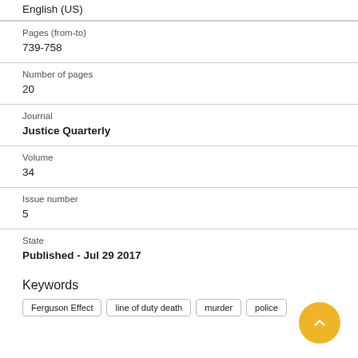English (US)
Pages (from-to)
739-758
Number of pages
20
Journal
Justice Quarterly
Volume
34
Issue number
5
State
Published - Jul 29 2017
Keywords
Ferguson Effect
line of duty death
murder
police